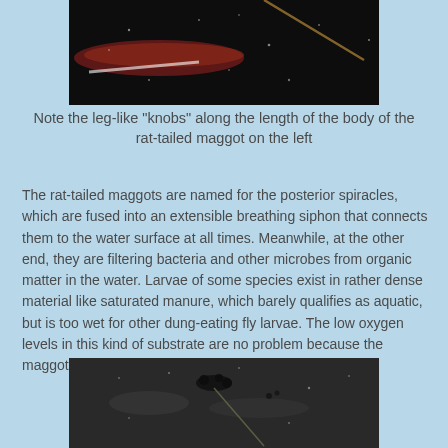[Figure (photo): Dark close-up photo of rat-tailed maggots in water, showing a reddish/dark body with a thin tube-like tail and debris in dark liquid]
Note the leg-like "knobs" along the length of the body of the rat-tailed maggot on the left
The rat-tailed maggots are named for the posterior spiracles, which are fused into an extensible breathing siphon that connects them to the water surface at all times. Meanwhile, at the other end, they are filtering bacteria and other microbes from organic matter in the water. Larvae of some species exist in rather dense material like saturated manure, which barely qualifies as aquatic, but is too wet for other dung-eating fly larvae. The low oxygen levels in this kind of substrate are no problem because the maggot's spiracles are always connected to the surface.
[Figure (photo): Dark close-up photo showing what appears to be rat-tailed maggots at or near the water surface with debris visible]